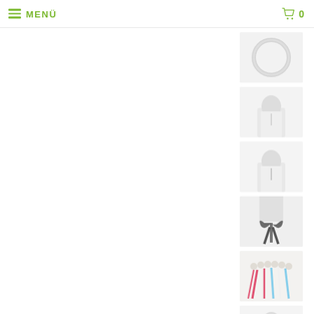MENÜ  0
[Figure (photo): E-commerce product page with a main product image area on the left (white/blank) and a vertical column of 7 small product thumbnail images on the right showing various necklace/collar jewelry items on a white background]
[Figure (photo): Thumbnail 1: circular white/silver necklace on white background]
[Figure (photo): Thumbnail 2: woman wearing white top with delicate necklace, blonde hair, close-up of neck/collar area]
[Figure (photo): Thumbnail 3: woman wearing white top with small necklace, blonde hair, similar close-up]
[Figure (photo): Thumbnail 4: dark ribbon bow tie/choker on white background with blonde hair visible]
[Figure (photo): Thumbnail 5: pearl collar necklace with colorful tassel/fringe details in pink, blue, white colors]
[Figure (photo): Thumbnail 6: woman wearing white top with dark bow tie collar, blonde hair]
[Figure (photo): Thumbnail 7: partial view of jewelry/collar item, partially cut off at bottom]